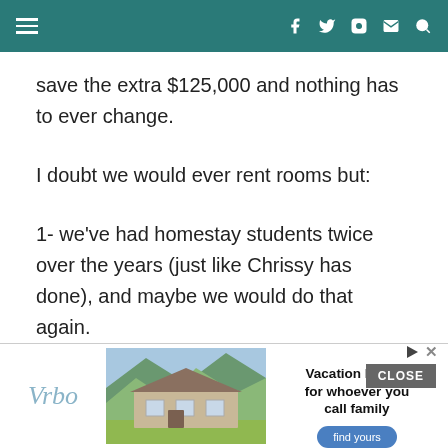≡  f  Twitter  Instagram  Mail  Search
save the extra $125,000 and nothing has to ever change.
I doubt we would ever rent rooms but:
1- we've had homestay students twice over the years (just like Chrissy has done), and maybe we would do that again.
[Figure (screenshot): Vrbo advertisement banner showing a vacation home with mountains in the background. Text reads: Vacation homes for whoever you call family. Find yours button.]